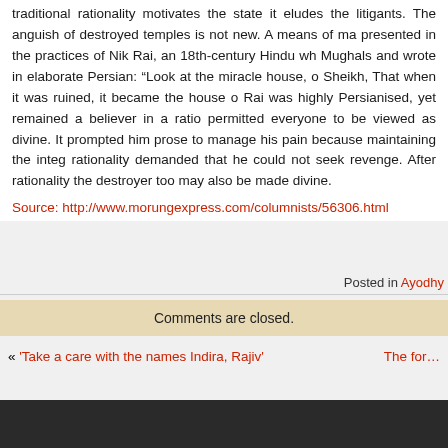...the fact that the issue was taken to court at all suggests that traditional rationality motivates the state it eludes the litigants. The anguish of destroyed temples is not new. A means of managing it is presented in the practices of Nik Rai, an 18th-century Hindu who served the Mughals and wrote in elaborate Persian: “Look at the miracle of my ruined house, o Sheikh, That when it was ruined, it became the house of God.” Nik Rai was highly Persianised, yet remained a believer in a rationality that permitted everyone to be viewed as divine. It prompted him to use Persian prose to manage his pain because maintaining the integrity of that rationality demanded that he could not seek revenge. After all, through that rationality the destroyer too may also be made divine.
Source: http://www.morungexpress.com/columnists/56306.html
Posted in Ayodhya
Comments are closed.
« ‘Take a care with the names Indira, Rajiv’
The for…